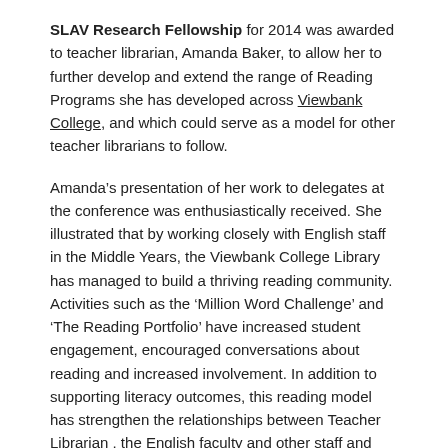SLAV Research Fellowship for 2014 was awarded to teacher librarian, Amanda Baker, to allow her to further develop and extend the range of Reading Programs she has developed across Viewbank College, and which could serve as a model for other teacher librarians to follow.
Amanda’s presentation of her work to delegates at the conference was enthusiastically received. She illustrated that by working closely with English staff in the Middle Years, the Viewbank College Library has managed to build a thriving reading community. Activities such as the ‘Million Word Challenge’ and ‘The Reading Portfolio’ have increased student engagement, encouraged conversations about reading and increased involvement. In addition to supporting literacy outcomes, this reading model has strengthen the relationships between Teacher Librarian , the English faculty and other staff and supports a reading culture across the school.
Congratulations Amanda, we look forward to hearing more about your work.